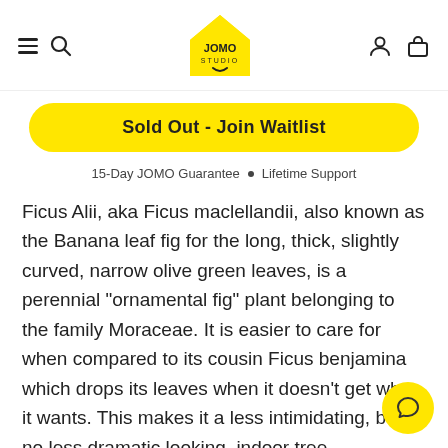JOMO STUDIO — navigation header with hamburger, search, logo, user, and cart icons
Sold Out - Join Waitlist
15-Day JOMO Guarantee • Lifetime Support
Ficus Alii, aka Ficus maclellandii, also known as the Banana leaf fig for the long, thick, slightly curved, narrow olive green leaves, is a perennial "ornamental fig" plant belonging to the family Moraceae. It is easier to care for when compared to its cousin Ficus benjamina which drops its leaves when it doesn't get what it wants. This makes it a less intimidating, but no less dramatic looking, indoor tree.